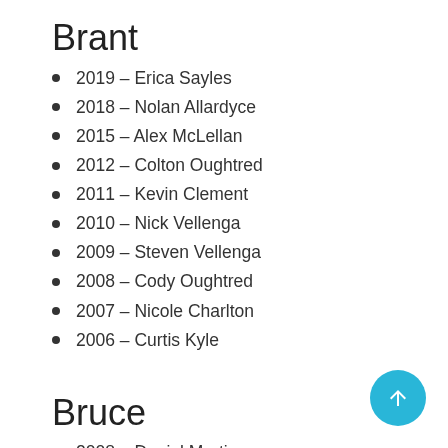Brant
2019 – Erica Sayles
2018 – Nolan Allardyce
2015 – Alex McLellan
2012 – Colton Oughtred
2011 – Kevin Clement
2010 – Nick Vellenga
2009 – Steven Vellenga
2008 – Cody Oughtred
2007 – Nicole Charlton
2006 – Curtis Kyle
Bruce
2008 – Daniel Martin
2007 – Eric Martin
2006 – Tammy Fischer
2005 – Jessica Burgess